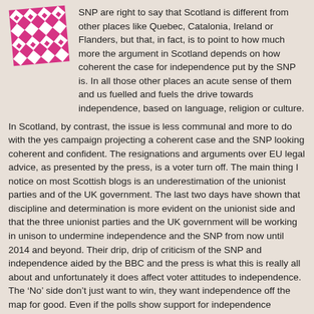[Figure (logo): Pink and white geometric patterned logo with triangles and diamond shapes in a square format, slightly rotated]
SNP are right to say that Scotland is different from other places like Quebec, Catalonia, Ireland or Flanders, but that, in fact, is to point to how much more the argument in Scotland depends on how coherent the case for independence put by the SNP is. In all those other places an acute sense of them and us fuelled and fuels the drive towards independence, based on language, religion or culture.
In Scotland, by contrast, the issue is less communal and more to do with the yes campaign projecting a coherent case and the SNP looking coherent and confident. The resignations and arguments over EU legal advice, as presented by the press, is a voter turn off. The main thing I notice on most Scottish blogs is an underestimation of the unionist parties and of the UK government. The last two days have shown that discipline and determination is more evident on the unionist side and that the three unionist parties and the UK government will be working in unison to undermine independence and the SNP from now until 2014 and beyond. Their drip, drip of criticism of the SNP and independence aided by the BBC and the press is what this is really all about and unfortunately it does affect voter attitudes to independence. The 'No' side don't just want to win, they want independence off the map for good. Even if the polls show support for independence languishing they are more likely to renew their efforts.
The resignations seem to show that SNP MSPs have a false sense of security based on their numbers in Parliament, if so they are misguided.